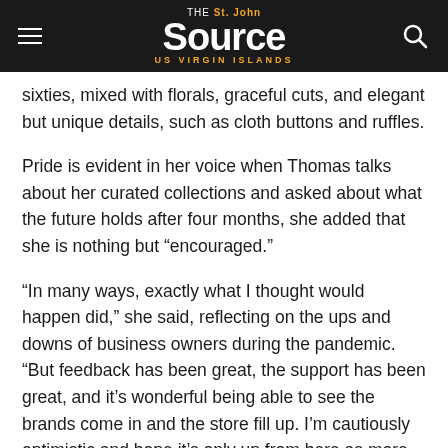THE St. John Source US VIRGIN ISLANDS
sixties, mixed with florals, graceful cuts, and elegant but unique details, such as cloth buttons and ruffles.
Pride is evident in her voice when Thomas talks about her curated collections and asked about what the future holds after four months, she added that she is nothing but “encouraged.”
“In many ways, exactly what I thought would happen did,” she said, reflecting on the ups and downs of business owners during the pandemic. “But feedback has been great, the support has been great, and it’s wonderful being able to see the brands come in and the store fill up. I’m cautiously optimistic and hope it’s only up from here as more people learn about the store and what we offer.”